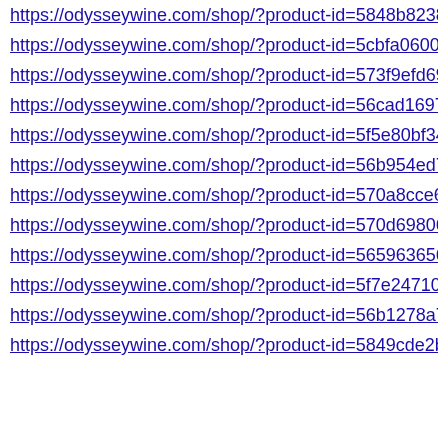https://odysseywine.com/shop/?product-id=5848b82381...
https://odysseywine.com/shop/?product-id=5cbfa06008c...
https://odysseywine.com/shop/?product-id=573f9efd697...
https://odysseywine.com/shop/?product-id=56cad16975...
https://odysseywine.com/shop/?product-id=5f5e80bf340...
https://odysseywine.com/shop/?product-id=56b954ed75...
https://odysseywine.com/shop/?product-id=570a8cce69...
https://odysseywine.com/shop/?product-id=570d698069...
https://odysseywine.com/shop/?product-id=5659636569...
https://odysseywine.com/shop/?product-id=5f7e24710fa...
https://odysseywine.com/shop/?product-id=56b1278a75...
https://odysseywine.com/shop/?product-id=5849cde2bfb...